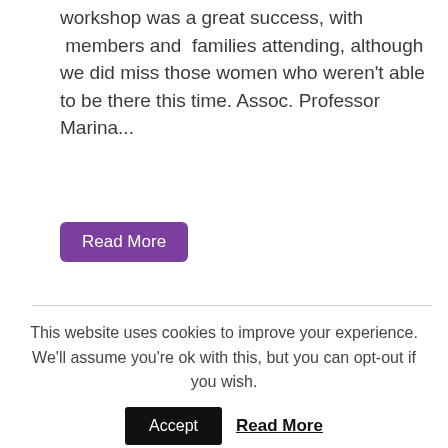workshop was a great success, with members and families attending, although we did miss those women who weren't able to be there this time. Assoc. Professor Marina...
Read More
[Figure (photo): Interior room photo showing a white ceiling with a green exit sign and a rectangular light fixture frame, bright white walls visible.]
This website uses cookies to improve your experience. We'll assume you're ok with this, but you can opt-out if you wish.
Accept
Read More